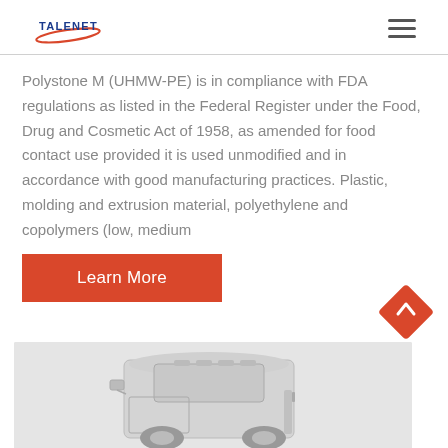TALENET [logo with hamburger menu]
Polystone M (UHMW-PE) is in compliance with FDA regulations as listed in the Federal Register under the Food, Drug and Cosmetic Act of 1958, as amended for food contact use provided it is used unmodified and in accordance with good manufacturing practices. Plastic, molding and extrusion material, polyethylene and copolymers (low, medium
Learn More
[Figure (photo): Partial view of a large commercial truck/semi-truck in gray color, cropped at bottom of page]